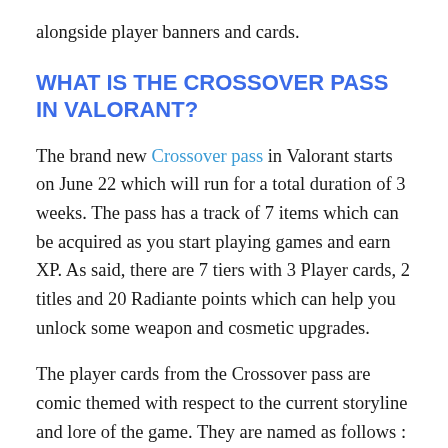alongside player banners and cards.
WHAT IS THE CROSSOVER PASS IN VALORANT?
The brand new Crossover pass in Valorant starts on June 22 which will run for a total duration of 3 weeks. The pass has a track of 7 items which can be acquired as you start playing games and earn XP. As said, there are 7 tiers with 3 Player cards, 2 titles and 20 Radiante points which can help you unlock some weapon and cosmetic upgrades.
The player cards from the Crossover pass are comic themed with respect to the current storyline and lore of the game. They are named as follows :